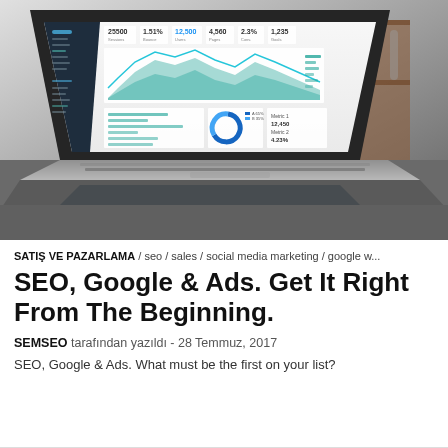[Figure (photo): Laptop computer on a desk displaying a web analytics dashboard with charts, graphs, and statistics. The screen shows multiple data visualizations including area charts and a donut chart. Background shows shelving and office environment.]
SATIŞ VE PAZARLAMA / seo / sales / social media marketing / google w...
SEO, Google & Ads. Get It Right From The Beginning.
SEMSEO tarafından yazıldı - 28 Temmuz, 2017
SEO, Google & Ads. What must be the first on your list?